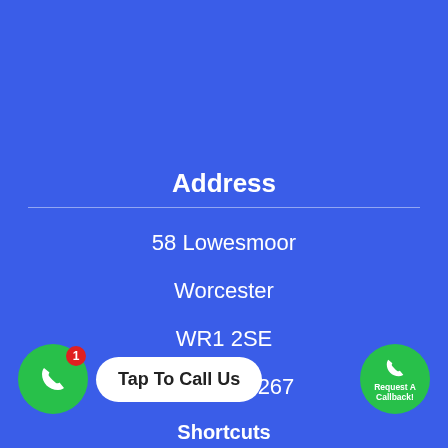Address
58 Lowesmoor
Worcester
WR1 2SE
01905 900267
[Figure (infographic): Green phone call button with red notification badge showing '1', next to a white pill-shaped button reading 'Tap To Call Us']
[Figure (infographic): Green circular button with phone icon and text 'Request A Callback!']
Shortcuts